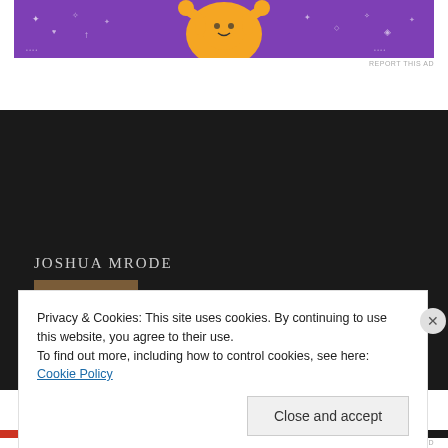[Figure (illustration): Colorful advertisement banner with purple/orange cartoon characters and decorative stars/hearts on a purple background]
REPORT THIS AD
JOSHUA MRODE
[Figure (photo): Profile photo of Joshua Mrode — a smiling person wearing glasses, indoors with warm background lighting]
Privacy & Cookies: This site uses cookies. By continuing to use this website, you agree to their use.
To find out more, including how to control cookies, see here: Cookie Policy
Close and accept
REPORT THIS AD